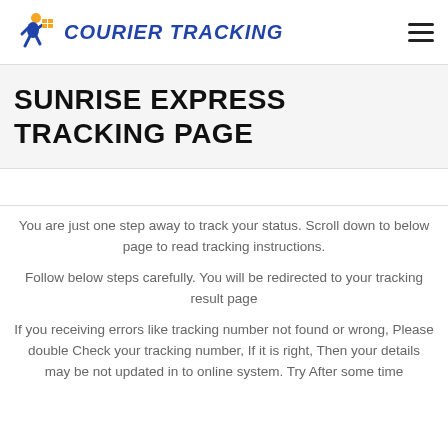COURIER TRACKING
SUNRISE EXPRESS TRACKING PAGE
You are just one step away to track your status. Scroll down to below page to read tracking instructions.
Follow below steps carefully. You will be redirected to your tracking result page
If you receiving errors like tracking number not found or wrong, Please double Check your tracking number, If it is right, Then your details may be not updated in to online system. Try After some time